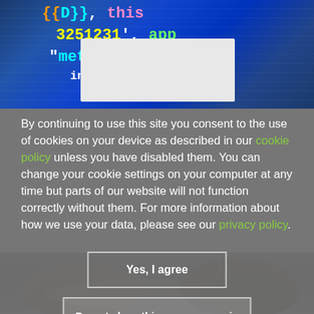[Figure (photo): Screenshot of colorful code/programming text with blue, orange, and green syntax highlighting on a dark background, with a light gray rectangle overlay in the middle.]
By continuing to use this site you consent to the use of cookies on your device as described in our cookie policy unless you have disabled them. You can change your cookie settings on your computer at any time but parts of our website will not function correctly without them. For more information about how we use your data, please see our privacy policy.
Yes, I agree
Do not show this message again
[Figure (photo): Black and white photograph of hands working with clay on a pottery wheel.]